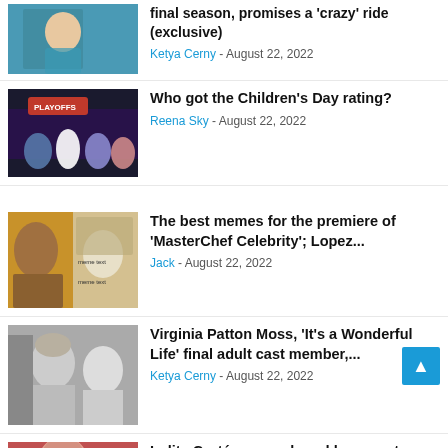[Figure (photo): Thumbnail of a woman in a patterned top against a blue background]
final season, promises a 'crazy' ride (exclusive)
Ketya Cerny - August 22, 2022
[Figure (photo): Thumbnail of a TV show stage with PLAYOFFS sign and contestants]
Who got the Children's Day rating?
Reena Sky - August 22, 2022
[Figure (photo): Thumbnail collage of meme images including men with captions]
The best memes for the premiere of 'MasterChef Celebrity'; Lopez...
Jack - August 22, 2022
[Figure (photo): Black and white photo of Virginia Patton Moss with a man]
Virginia Patton Moss, 'It's a Wonderful Life' final adult cast member,...
Ketya Cerny - August 22, 2022
[Figure (photo): Thumbnail of a woman, partial view at bottom]
Lolita Cortés remembered her worst